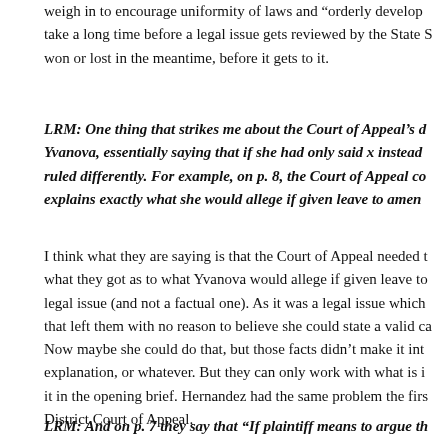weigh in to encourage uniformity of laws and “orderly develop… take a long time before a legal issue gets reviewed by the State S… won or lost in the meantime, before it gets to it.
LRM: One thing that strikes me about the Court of Appeal’s d… Yvanova, essentially saying that if she had only said x instead … ruled differently. For example, on p. 8, the Court of Appeal co… explains exactly what she would allege if given leave to amen…
I think what they are saying is that the Court of Appeal needed t… what they got as to what Yvanova would allege if given leave to… legal issue (and not a factual one). As it was a legal issue which… that left them with no reason to believe she could state a valid ca… Now maybe she could do that, but those facts didn’t make it int… explanation, or whatever. But they can only work with what is i… it in the opening brief. Hernandez had the same problem the firs… District Court of Appeal.
LRM: And on p. 7 they say that “If plaintiff means to argue th…